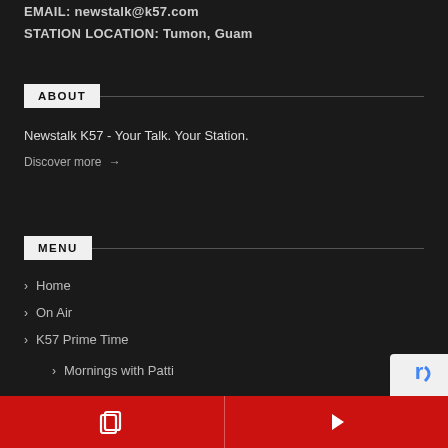EMAIL: newstalk@k57.com
STATION LOCATION: Tumon, Guam
ABOUT
Newstalk K57 - Your Talk. Your Station.
Discover more →
MENU
Home
On Air
K57 Prime Time
Mornings with Patti
Tony Talks